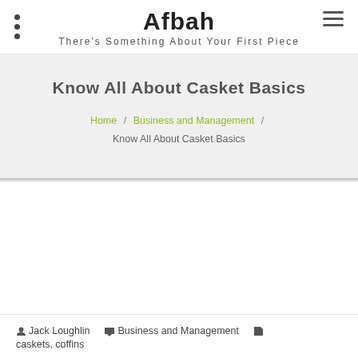Afbah — There's Something About Your First Piece
Know All About Casket Basics
Home / Business and Management / Know All About Casket Basics
Jack Loughlin  Business and Management  caskets, coffins